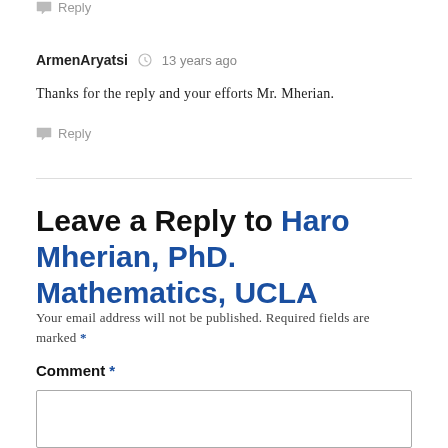Reply
ArmenAryatsi  13 years ago
Thanks for the reply and your efforts Mr. Mherian.
Reply
Leave a Reply to Haro Mherian, PhD. Mathematics, UCLA
Your email address will not be published. Required fields are marked *
Comment *